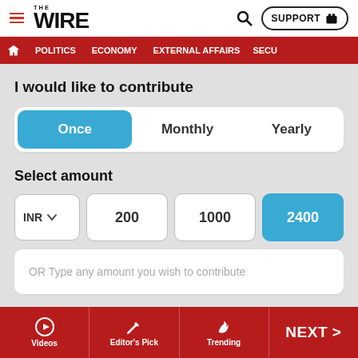THE WIRE — SUPPORT
POLITICS | ECONOMY | EXTERNAL AFFAIRS | SECU...
I would like to contribute
Once | Monthly | Yearly
Select amount
INR ∨  |  200  |  1000  |  2400
OR Type any amount you wish to contribute
Billing Details
Videos | Editor's Pick | Trending | NEXT >